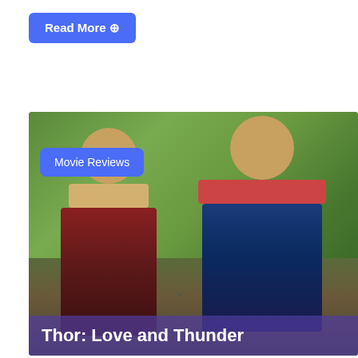Read More ⊕
[Figure (photo): Movie still from Thor: Love and Thunder showing two characters dressed in Thor armor costumes with red capes, standing outdoors in a green landscape. Text overlay at top-left reads 'Movie Reviews' and title overlay at bottom reads 'Thor: Love and Thunder'.]
Thor: Love and Thunder